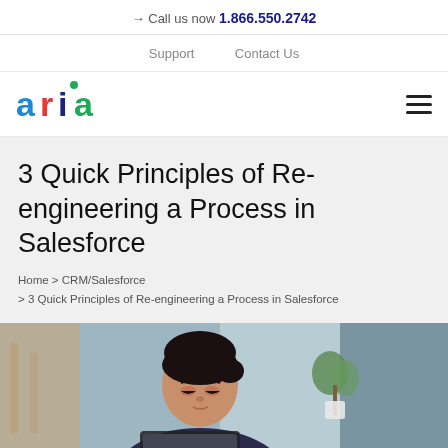→ Call us now 1.866.550.2742
Support   Contact Us
[Figure (logo): Aria logo in blue, red, green, dark blue letters]
3 Quick Principles of Re-engineering a Process in Salesforce
Home > CRM/Salesforce > 3 Quick Principles of Re-engineering a Process in Salesforce
[Figure (photo): Woman with dark hair looking down at a device, office background with plants]